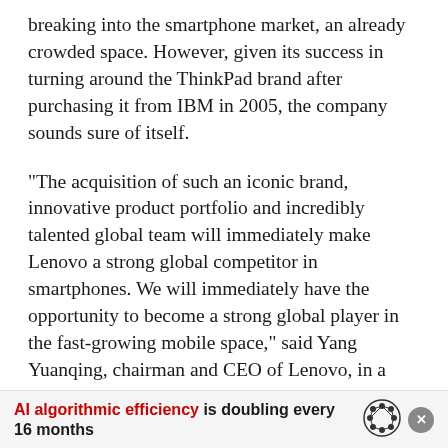breaking into the smartphone market, an already crowded space. However, given its success in turning around the ThinkPad brand after purchasing it from IBM in 2005, the company sounds sure of itself.
“The acquisition of such an iconic brand, innovative product portfolio and incredibly talented global team will immediately make Lenovo a strong global competitor in smartphones. We will immediately have the opportunity to become a strong global player in the fast-growing mobile space,” said Yang Yuanqing, chairman and CEO of Lenovo, in a statement.
“We are confident that we can bring together the best...
AI algorithmic efficiency is doubling every 16 months